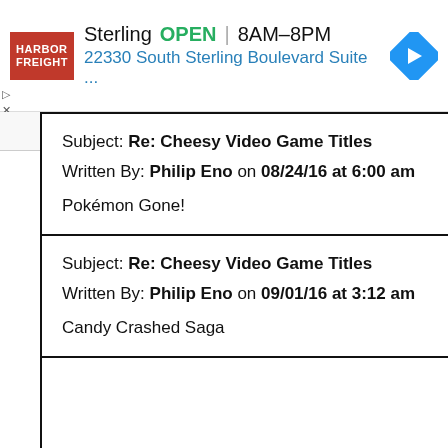[Figure (screenshot): Harbor Freight Tools ad banner showing store location in Sterling, OPEN 8AM-8PM, address 22330 South Sterling Boulevard Suite ..., with navigation arrow icon]
Subject: Re: Cheesy Video Game Titles
Written By: Philip Eno on 08/24/16 at 6:00 am

Pokémon Gone!
Subject: Re: Cheesy Video Game Titles
Written By: Philip Eno on 09/01/16 at 3:12 am

Candy Crashed Saga